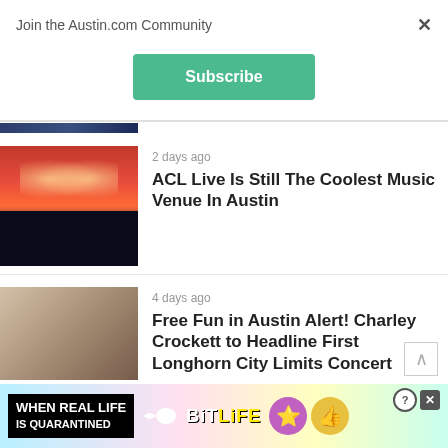Join the Austin.com Community
Subscribe
[Figure (photo): Partial blue image visible at top of article list]
2 days ago
[Figure (photo): Concert crowd photo with orange/red stage lighting and silhouettes of crowd holding phones]
ACL Live Is Still The Coolest Music Venue In Austin
4 days ago
[Figure (photo): Man in white cowboy hat playing guitar with another person in background]
Free Fun in Austin Alert! Charley Crockett to Headline First Longhorn City Limits Concert
[Figure (screenshot): BitLife app advertisement banner: WHEN REAL LIFE IS QUARANTINED with BitLife logo and emoji icons]